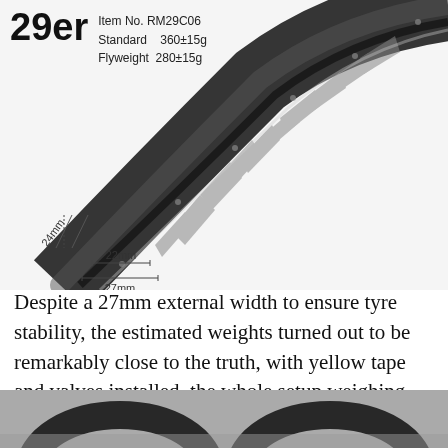29er
Item No. RM29C06
Standard    360±15g
Flyweight  280±15g
[Figure (photo): Close-up of a carbon 29er bicycle rim section with dimension annotations: 24mm (height), 22mm (inner width), 27mm (outer width). The rim is black with decorative graphics.]
Despite a 27mm external width to ensure tyre stability, the estimated weights turned out to be remarkably close to the truth, with yellow tape and valves installed, the whole setup weighing 1238g. The build quality is excellent, with good, even spoke tension, and excellent trueness and roundness.
[Figure (photo): Partial bottom photo of bicycle wheel/rim component, mostly cut off at page bottom.]